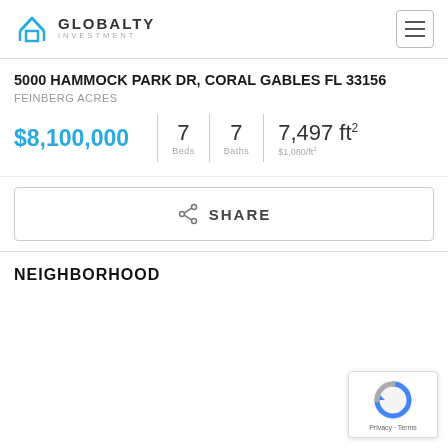GLOBALTY INVESTMENT
5000 HAMMOCK PARK DR, CORAL GABLES FL 33156
FEINBERG ACRES
$8,100,000 | 7 Beds | 7 Baths | 7,497 ft² $1,080/ft²
SHARE
NEIGHBORHOOD